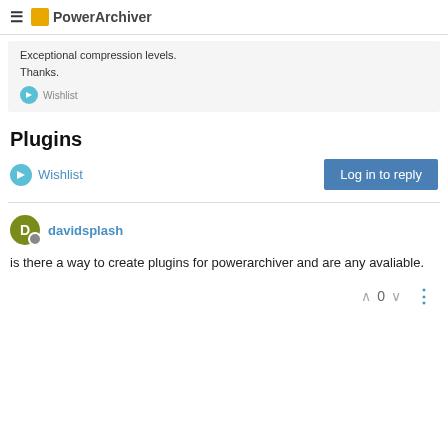PowerArchiver
Exceptional compression levels.
Thanks.
Wishlist
Plugins
Wishlist
Log in to reply
davidsplash
is there a way to create plugins for powerarchiver and are any avaliable.
0